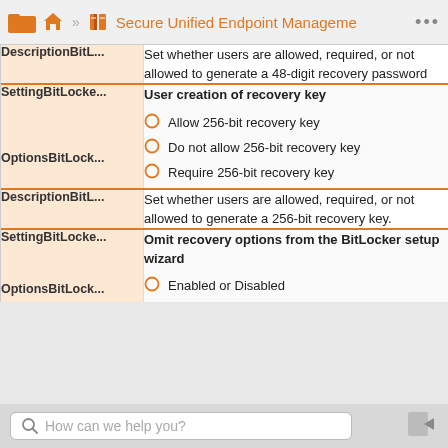Home » Secure Unified Endpoint Management
| Key | Value |
| --- | --- |
| DescriptionBitL... | Set whether users are allowed, required, or not allowed to generate a 48-digit recovery password |
| SettingBitLocke...

OptionsBitLock... | User creation of recovery key

Allow 256-bit recovery key
Do not allow 256-bit recovery key
Require 256-bit recovery key |
| DescriptionBitL... | Set whether users are allowed, required, or not allowed to generate a 256-bit recovery key. |
| SettingBitLocke...

OptionsBitLock... | Omit recovery options from the BitLocker setup wizard

Enabled or Disabled |
How can we help you?